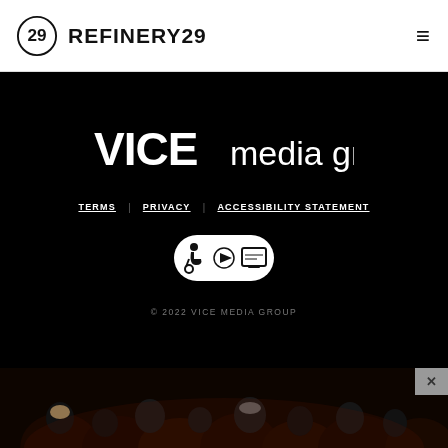REFINERY29
[Figure (logo): VICE media group white logo on black background]
TERMS   PRIVACY   ACCESSIBILITY STATEMENT
[Figure (illustration): Accessibility icon badge with wheelchair, play button, and screen symbols]
© 2022 VICE MEDIA GROUP
[Figure (photo): Crowd of people viewed from behind at an event, dark ambient lighting]